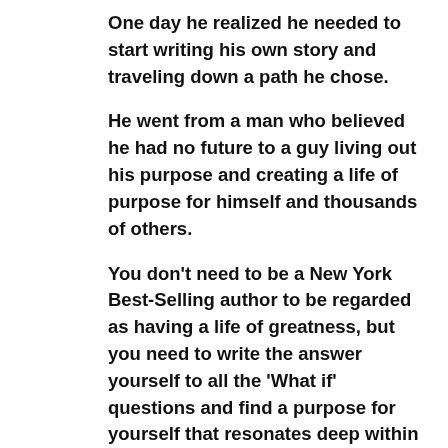One day he realized he needed to start writing his own story and traveling down a path he chose.
He went from a man who believed he had no future to a guy living out his purpose and creating a life of purpose for himself and thousands of others.
You don't need to be a New York Best-Selling author to be regarded as having a life of greatness, but you need to write the answer yourself to all the 'What if' questions and find a purpose for yourself that resonates deep within you.
Take a chance on yourself, and take a chance at a life of greatness.